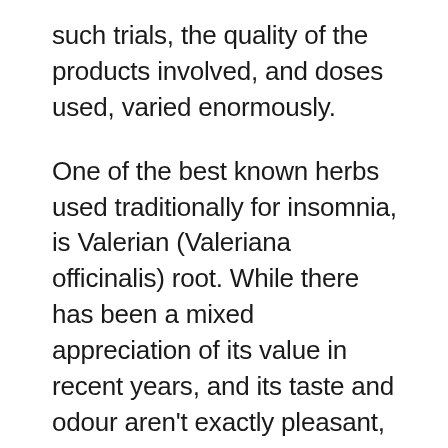such trials, the quality of the products involved, and doses used, varied enormously.
One of the best known herbs used traditionally for insomnia, is Valerian (Valeriana officinalis) root. While there has been a mixed appreciation of its value in recent years, and its taste and odour aren't exactly pleasant, comments from the esteemed German medical practitioner and phytotherapist Rudolf Weiss, who widely prescribed Valerian and other herbs while in Russian captivity with limited drug supplies during World War 2, are salient: